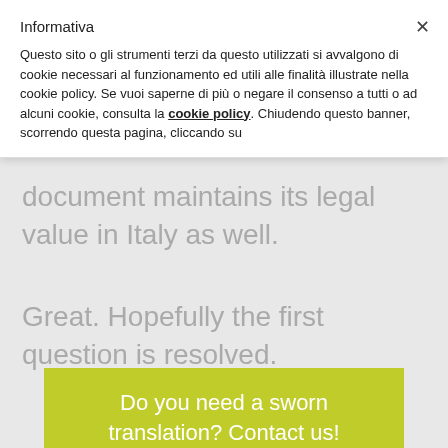Informativa
Questo sito o gli strumenti terzi da questo utilizzati si avvalgono di cookie necessari al funzionamento ed utili alle finalità illustrate nella cookie policy. Se vuoi saperne di più o negare il consenso a tutti o ad alcuni cookie, consulta la cookie policy. Chiudendo questo banner, scorrendo questa pagina, cliccando su
document maintains its legal value in Italy as well.
Great. Hopefully the first question is resolved.
Do you need a sworn translation? Contact us!